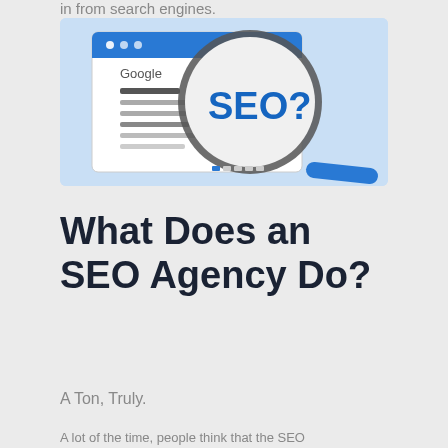in from search engines.
[Figure (illustration): A browser window showing the Google search interface with horizontal lines representing search results, overlaid with a large magnifying glass containing the bold blue text 'SEO?' on a light blue background.]
What Does an SEO Agency Do?
A Ton, Truly.
A lot of the time, people think that the SEO